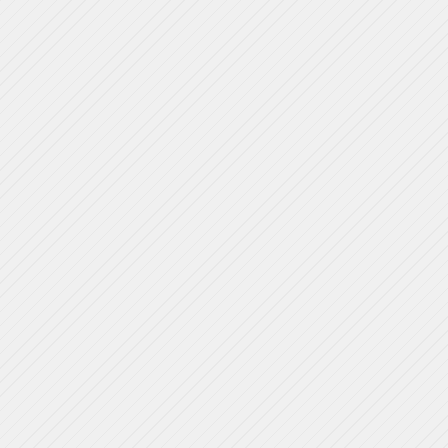to the need to run the garbage disposal in the dish rooms. The pulper is more water efficient internally recycling the water used to